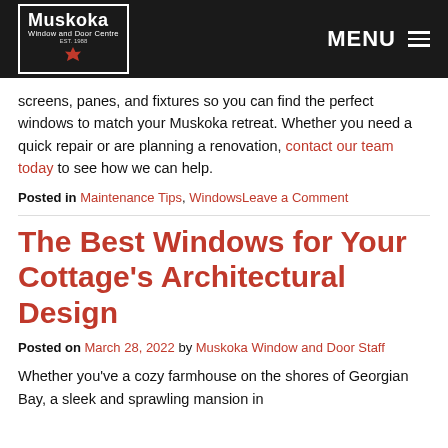Muskoka Window and Door Centre | MENU
screens, panes, and fixtures so you can find the perfect windows to match your Muskoka retreat. Whether you need a quick repair or are planning a renovation, contact our team today to see how we can help.
Posted in Maintenance Tips, WindowsLeave a Comment
The Best Windows for Your Cottage's Architectural Design
Posted on March 28, 2022 by Muskoka Window and Door Staff
Whether you've a cozy farmhouse on the shores of Georgian Bay, a sleek and sprawling mansion in